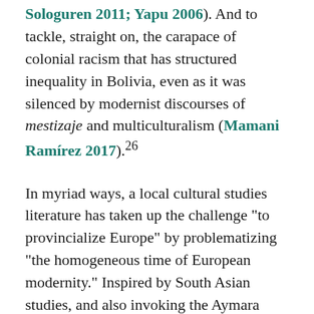Sologuren 2011; Yapu 2006). And to tackle, straight on, the carapace of colonial racism that has structured inequality in Bolivia, even as it was silenced by modernist discourses of mestizaje and multiculturalism (Mamani Ramírez 2017).26
In myriad ways, a local cultural studies literature has taken up the challenge "to provincialize Europe" by problematizing "the homogeneous time of European modernity." Inspired by South Asian studies, and also invoking the Aymara concept of nayrapacha (captured by the aphorism "mirando al futuro-pasado, caminaremos por el presente"), several Bolivian historians and cultural theorists have interrogated the West's metahistorical categories of time and